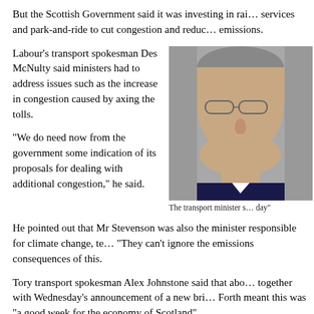But the Scottish Government said it was investing in rail services and park-and-ride to cut congestion and reduce emissions.
Labour's transport spokesman Des McNulty said ministers had to address issues such as the increase in congestion caused by axing the tolls.
"We do need now from the government some indication of its proposals for dealing with additional congestion," he said.
[Figure (photo): Portrait photo of a man wearing glasses, cropped close-up]
The transport minister s… day"
He pointed out that Mr Stevenson was also the minister responsible for climate change, te… "They can't ignore the emissions consequences of this.
Tory transport spokesman Alex Johnstone said that abo… together with Wednesday's announcement of a new bri… Forth meant this was "a good week for the economy of Scotland".
The tolls will go soon after the Queen gives her consen… of the new parliament.
Liberal Democrat transport spokesman Alison McInnes… importance of bringing in measures to combat congestio… any increase in pollution.